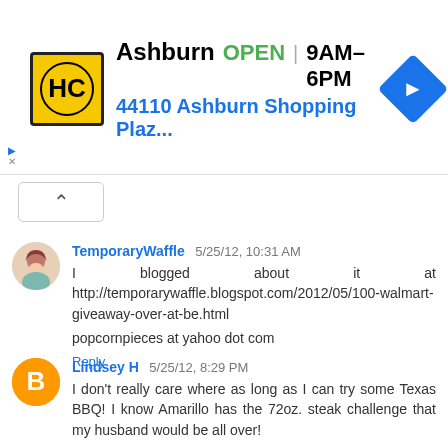[Figure (other): Advertisement banner for Hammer & Chisel or similar store with HC logo, showing Ashburn location OPEN 9AM-6PM, address 44110 Ashburn Shopping Plaz..., with navigation arrow icon]
TemporaryWaffle 5/25/12, 10:31 AM
I blogged about it at http://temporarywaffle.blogspot.com/2012/05/100-walmart-giveaway-over-at-be.html

popcornpieces at yahoo dot com
Reply
Lindsey H 5/25/12, 8:29 PM
I don't really care where as long as I can try some Texas BBQ! I know Amarillo has the 72oz. steak challenge that my husband would be all over!
Reply